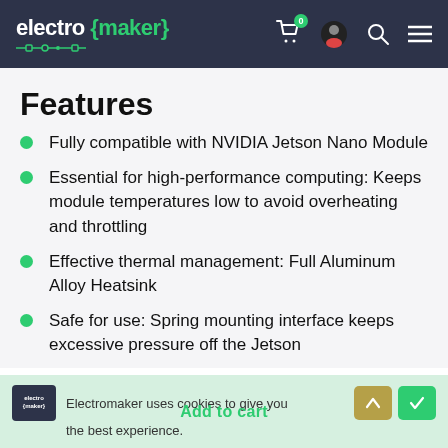electro {maker} — header with cart, profile, search, menu icons
Features
Fully compatible with NVIDIA Jetson Nano Module
Essential for high-performance computing: Keeps module temperatures low to avoid overheating and throttling
Effective thermal management: Full Aluminum Alloy Heatsink
Safe for use: Spring mounting interface keeps excessive pressure off the Jetson
Electromaker uses cookies to give you the best experience. Add to cart